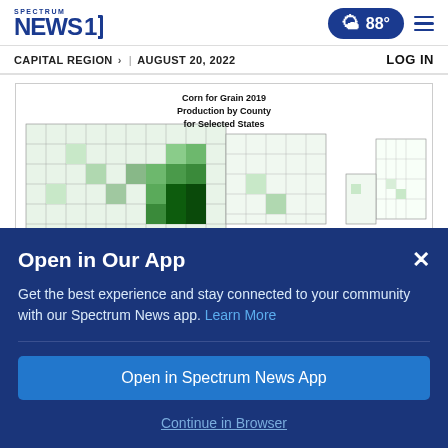Spectrum News 1 | 88° | CAPITAL REGION > | AUGUST 20, 2022 | LOG IN
[Figure (map): Corn for Grain 2019 Production by County for Selected States — USDA choropleth map showing county-level corn production across northeastern/midwestern US states with varying shades of green]
Open in Our App
Get the best experience and stay connected to your community with our Spectrum News app. Learn More
Open in Spectrum News App
Continue in Browser